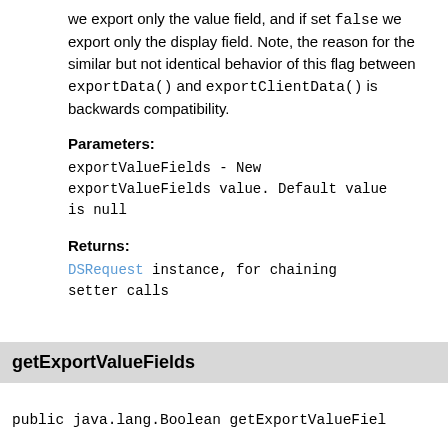we export only the value field, and if set false we export only the display field. Note, the reason for the similar but not identical behavior of this flag between exportData() and exportClientData() is backwards compatibility.
Parameters:
exportValueFields - New exportValueFields value. Default value is null
Returns:
DSRequest instance, for chaining setter calls
getExportValueFields
public java.lang.Boolean getExportValueFiel